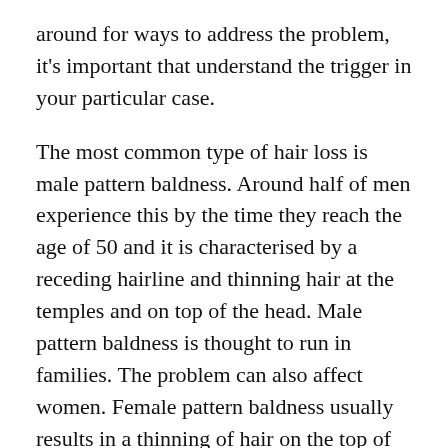around for ways to address the problem, it's important that understand the trigger in your particular case.
The most common type of hair loss is male pattern baldness. Around half of men experience this by the time they reach the age of 50 and it is characterised by a receding hairline and thinning hair at the temples and on top of the head. Male pattern baldness is thought to run in families. The problem can also affect women. Female pattern baldness usually results in a thinning of hair on the top of